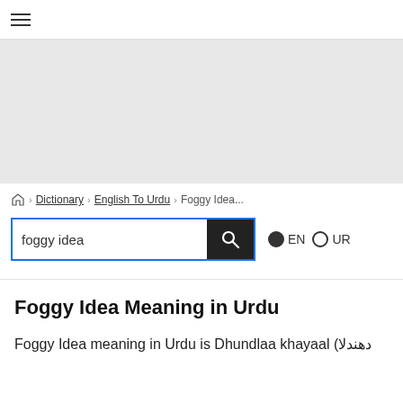☰
[Figure (other): Advertisement or banner area with light grey background]
🏠 › Dictionary › English To Urdu › Foggy Idea...
foggy idea [search box] ● EN  ○ UR
Foggy Idea Meaning in Urdu
Foggy Idea meaning in Urdu is Dhundlaa khayaal (دھندلا